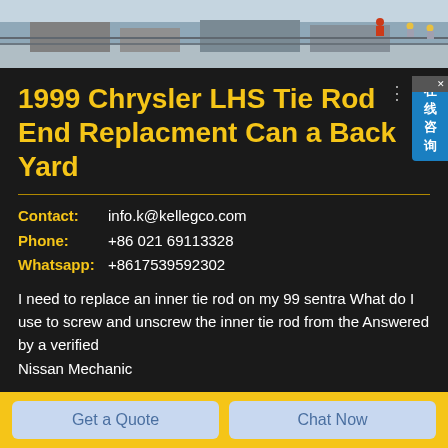[Figure (photo): Construction site aerial photo with workers wearing hard hats]
1999 Chrysler LHS Tie Rod End Replacment Can a Back Yard
Contact:   info.k@kellegco.com
Phone:     +86 021 69113328
Whatsapp: +8617539592302
I need to replace an inner tie rod on my 99 sentra What do I use to screw and unscrew the inner tie rod from the Answered by a verified Nissan Mechanic